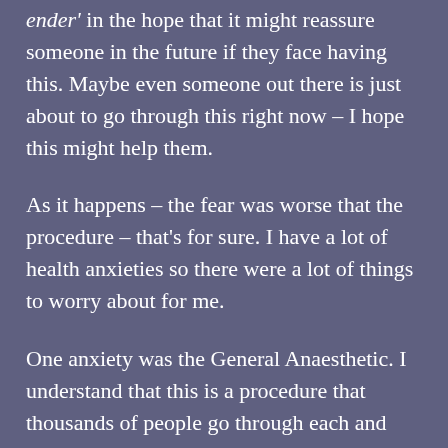ender' in the hope that it might reassure someone in the future if they face having this. Maybe even someone out there is just about to go through this right now – I hope this might help them.
As it happens – the fear was worse that the procedure – that's for sure. I have a lot of health anxieties so there were a lot of things to worry about for me.
One anxiety was the General Anaesthetic. I understand that this is a procedure that thousands of people go through each and every day and survive. But, back in 2012, in a private hospital (yeah, you'd like to think you would get